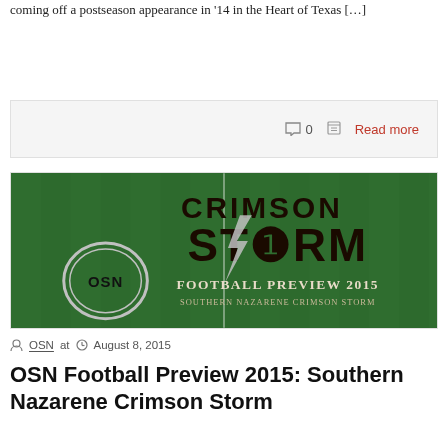coming off a postseason appearance in '14 in the Heart of Texas […]
0   Read more
[Figure (photo): Football field with Crimson Storm logo and text 'OSN Football Preview 2015 Southern Nazarene Crimson Storm' on green turf]
OSN at   August 8, 2015
OSN Football Preview 2015: Southern Nazarene Crimson Storm